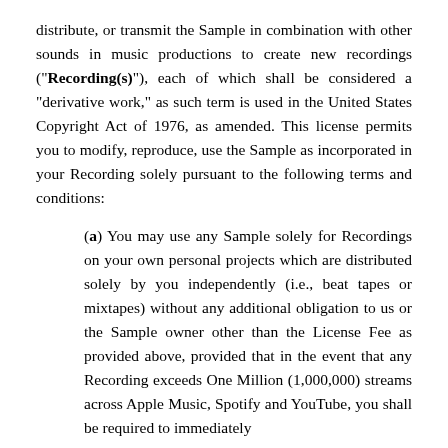distribute, or transmit the Sample in combination with other sounds in music productions to create new recordings ("Recording(s)"), each of which shall be considered a "derivative work," as such term is used in the United States Copyright Act of 1976, as amended. This license permits you to modify, reproduce, use the Sample as incorporated in your Recording solely pursuant to the following terms and conditions:
(a) You may use any Sample solely for Recordings on your own personal projects which are distributed solely by you independently (i.e., beat tapes or mixtapes) without any additional obligation to us or the Sample owner other than the License Fee as provided above, provided that in the event that any Recording exceeds One Million (1,000,000) streams across Apple Music, Spotify and YouTube, you shall be required to immediately